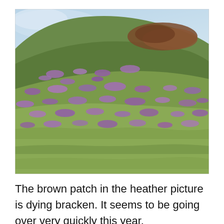[Figure (photo): A hillside covered with patches of purple heather in bloom and green grass, with a brown patch of dying bracken visible on the upper right area of the hill. The sky is partially visible at the top left.]
The brown patch in the heather picture is dying bracken. It seems to be going over very quickly this year.